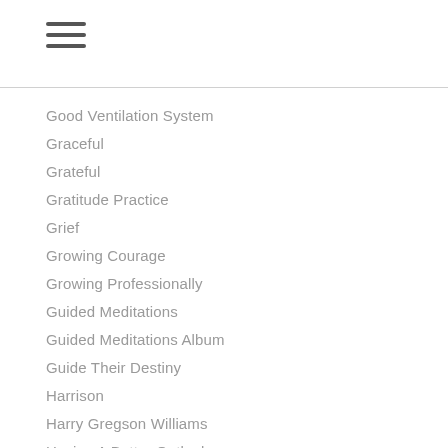≡
Good Ventilation System
Graceful
Grateful
Gratitude Practice
Grief
Growing Courage
Growing Professionally
Guided Meditations
Guided Meditations Album
Guide Their Destiny
Harrison
Harry Gregson Williams
Having A Better Outlook
Having Hope
Having The Attitude To Work Toward A Solution Or Win Victory
Having The Courage To Launch A Business
Health